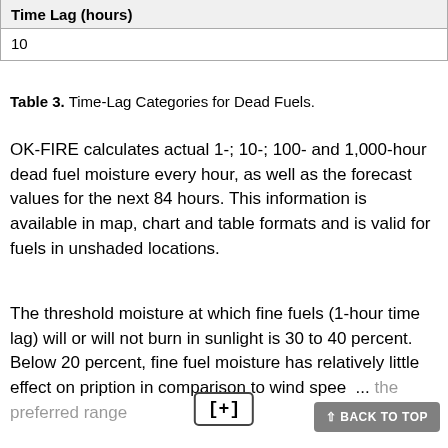| Time Lag (hours) |
| --- |
| 10 |
Table 3. Time-Lag Categories for Dead Fuels.
OK-FIRE calculates actual 1-; 10-; 100- and 1,000-hour dead fuel moisture every hour, as well as the forecast values for the next 84 hours. This information is available in map, chart and table formats and is valid for fuels in unshaded locations.
The threshold moisture at which fine fuels (1-hour time lag) will or will not burn in sunlight is 30 to 40 percent. Below 20 percent, fine fuel moisture has relatively little effect on ignition in comparison to wind speed... the preferred range